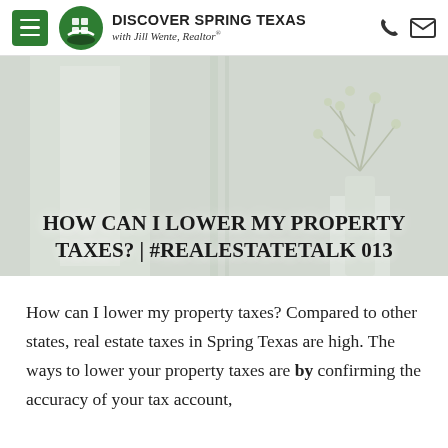Discover Spring Texas with Jill Wente, Realtor®
[Figure (photo): Interior room scene with white walls, a tall narrow door or panel, and a decorative vase with branches on the right side. Serves as hero background image.]
HOW CAN I LOWER MY PROPERTY TAXES? | #REALESTATETALK 013
How can I lower my property taxes? Compared to other states, real estate taxes in Spring Texas are high. The ways to lower your property taxes are by confirming the accuracy of your tax account,